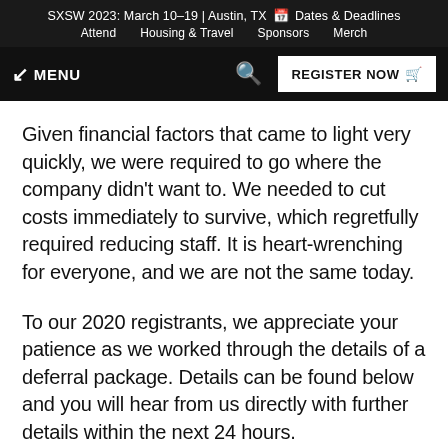SXSW 2023: March 10–19 | Austin, TX 📅 Dates & Deadlines  Attend   Housing & Travel   Sponsors   Merch
☰ MENU  🔍  REGISTER NOW 🛒
Given financial factors that came to light very quickly, we were required to go where the company didn't want to. We needed to cut costs immediately to survive, which regretfully required reducing staff. It is heart-wrenching for everyone, and we are not the same today.
To our 2020 registrants, we appreciate your patience as we worked through the details of a deferral package. Details can be found below and you will hear from us directly with further details within the next 24 hours.